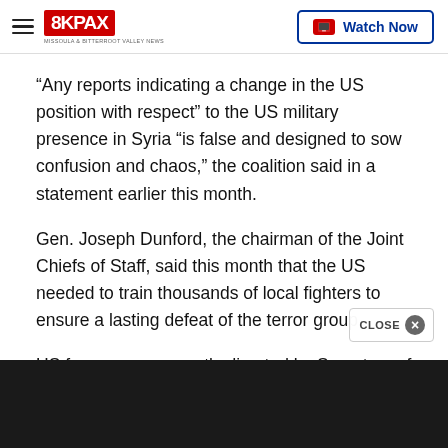8KPAX | Watch Now
“Any reports indicating a change in the US position with respect” to the US military presence in Syria “is false and designed to sow confusion and chaos,” the coalition said in a statement earlier this month.
Gen. Joseph Dunford, the chairman of the Joint Chiefs of Staff, said this month that the US needed to train thousands of local fighters to ensure a lasting defeat of the terror group.
US forces were recently directed by Secretary of Defense James Mattis to establish observation pos...